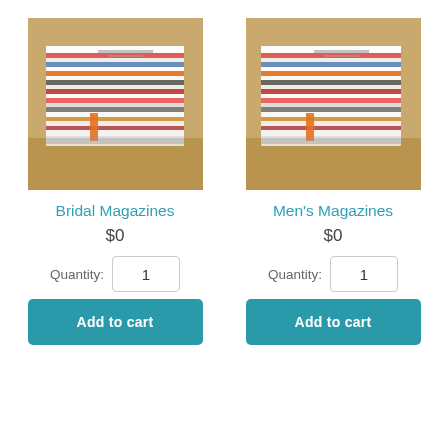[Figure (photo): Stack of magazines piled on a surface - Bridal Magazines product image]
[Figure (photo): Stack of magazines piled on a surface - Men's Magazines product image]
Bridal Magazines
Men's Magazines
$0
$0
Quantity: 1
Add to cart
Quantity: 1
Add to cart